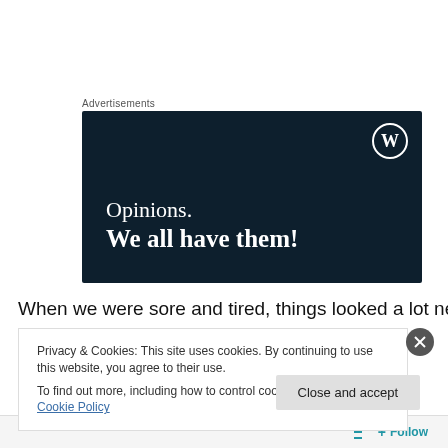Advertisements
[Figure (illustration): WordPress advertisement banner with dark navy background. WordPress logo (circle with W) in top right. Text reads: 'Opinions. We all have them!']
When we were sore and tired, things looked a lot neater.
Privacy & Cookies: This site uses cookies. By continuing to use this website, you agree to their use.
To find out more, including how to control cookies, see here: Cookie Policy
Close and accept